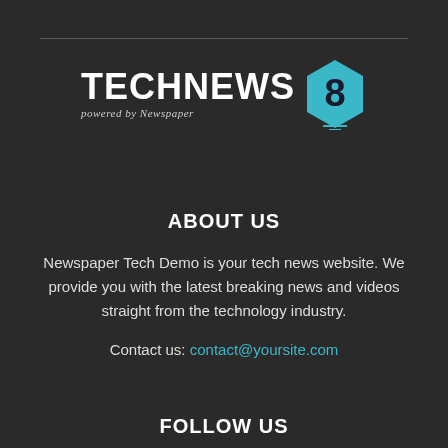[Figure (logo): TechNews 8 logo — bold white TECHNEWS text with italic 'powered by Newspaper' subtitle, alongside a cyan hexagon badge containing the number 8]
ABOUT US
Newspaper Tech Demo is your tech news website. We provide you with the latest breaking news and videos straight from the technology industry.
Contact us: contact@yoursite.com
FOLLOW US